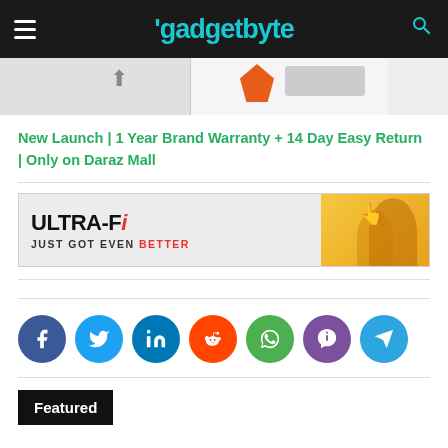gadgetbyte
[Figure (screenshot): Partial product/promotional image strip at top]
New Launch | 1 Year Brand Warranty + 14 Day Easy Return | Only on Daraz Mall
[Figure (infographic): ULTRA-Fi JUST GOT EVEN BETTER advertisement banner with people]
[Figure (infographic): Social sharing buttons: Facebook, Twitter, LinkedIn, Reddit, WhatsApp, Viber, Telegram]
Featured